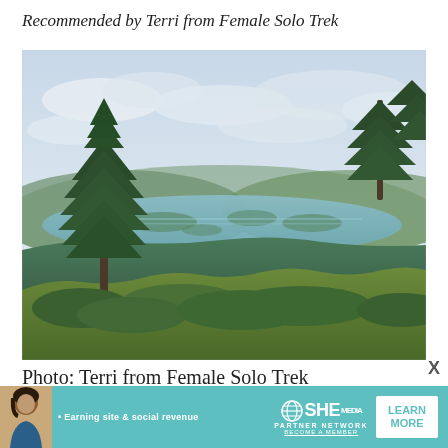Recommended by Terri from Female Solo Trek
[Figure (photo): Scenic mountain overlook photo showing tall conifer trees in the foreground with a vast lake and forested hills in the background under a cloudy sky, taken from an elevated trail vantage point.]
Photo: Terri from Female Solo Trek
[Figure (infographic): Advertisement banner for SHE Media Partner Network featuring a woman, text 'Earning site & social revenue', SHE logo, 'PARTNER NETWORK', 'BECOME A MEMBER', and a 'LEARN MORE' button.]